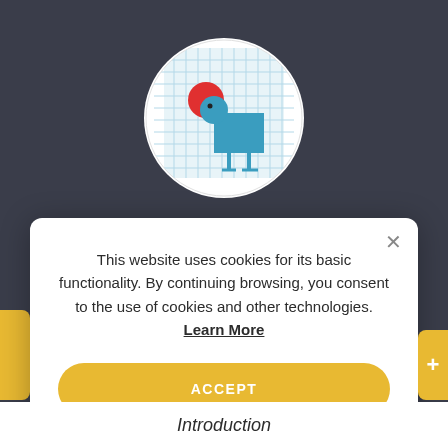[Figure (logo): Circular logo with white background and light blue grid pattern, featuring a stylized blue bird/duck figure balancing a red circle on its beak]
This website uses cookies for its basic functionality. By continuing browsing, you consent to the use of cookies and other technologies. Learn More
ACCEPT
Introduction